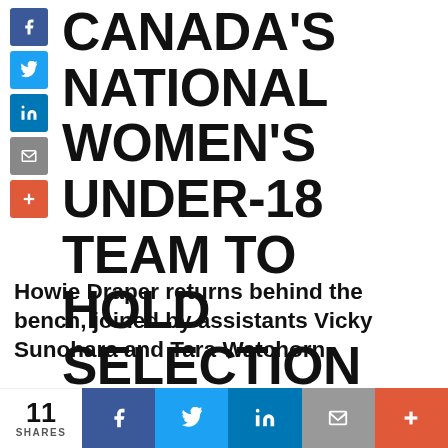CANADA'S NATIONAL WOMEN'S UNDER-18 TEAM TO HOLD SELECTION CAMP IN CALGARY AHEAD OF U18 WOMEN'S WORLDS
Howie Draper returns behind the bench, joined by assistants Vicky Sunohara and Tara Watchorn
11 SHARES  |  May 10, 2022